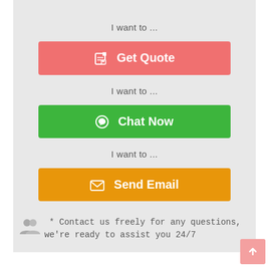I want to ...
[Figure (other): Pink 'Get Quote' button with pencil/edit icon]
I want to ...
[Figure (other): Green 'Chat Now' button with WhatsApp/chat icon]
I want to ...
[Figure (other): Orange 'Send Email' button with envelope icon]
* Contact us freely for any questions, we're ready to assist you 24/7